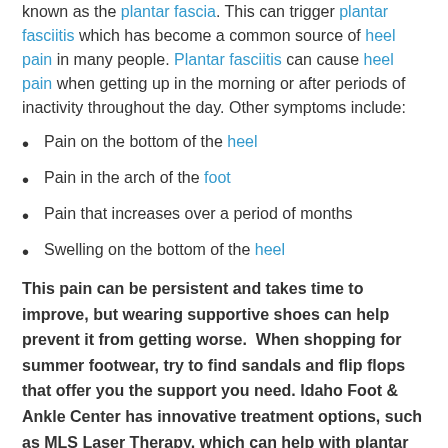known as the plantar fascia. This can trigger plantar fasciitis which has become a common source of heel pain in many people. Plantar fasciitis can cause heel pain when getting up in the morning or after periods of inactivity throughout the day. Other symptoms include:
Pain on the bottom of the heel
Pain in the arch of the foot
Pain that increases over a period of months
Swelling on the bottom of the heel
This pain can be persistent and takes time to improve, but wearing supportive shoes can help prevent it from getting worse. When shopping for summer footwear, try to find sandals and flip flops that offer you the support you need. Idaho Foot & Ankle Center has innovative treatment options, such as MLS Laser Therapy, which can help with plantar fasciitis. Idaho foot &